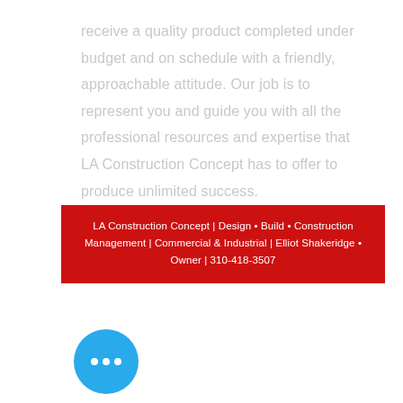receive a quality product completed under budget and on schedule with a friendly, approachable attitude. Our job is to represent you and guide you with all the professional resources and expertise that LA Construction Concept has to offer to produce unlimited success.
LA Construction Concept | Design • Build • Construction Management | Commercial & Industrial | Elliot Shakeridge • Owner | 310-418-3507
[Figure (other): Blue circular chat button with three white dots]